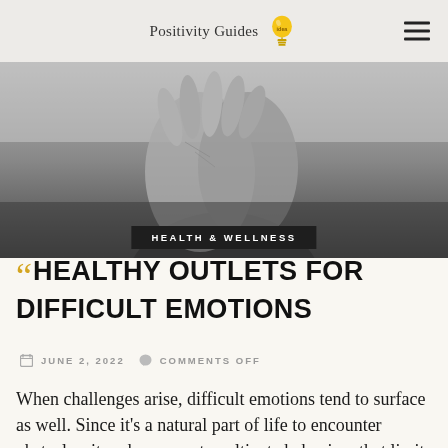Positivity Guides
[Figure (photo): Black and white photo of a distressed elderly man covering his face with his hands]
HEALTH & WELLNESS
HEALTHY OUTLETS FOR DIFFICULT EMOTIONS
JUNE 2, 2022   COMMENTS OFF
When challenges arise, difficult emotions tend to surface as well. Since it's a natural part of life to encounter obstacles, it makes sense to cultivate behaviors that limit your suffering and